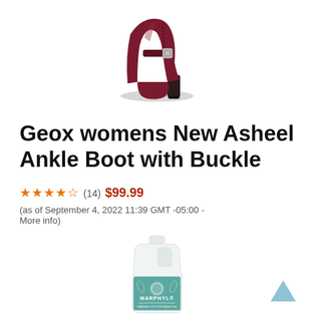[Figure (photo): Burgundy/dark red women's ankle boot with buckle strap and block heel, shown on white background]
Geox womens New Asheel Ankle Boot with Buckle
★★★★☆ (14)  $99.99  (as of September 4, 2022 11:39 GMT -05:00 - More info)
[Figure (photo): White plastic jug/gallon container with teal label reading MARPHYL, shown on white background]